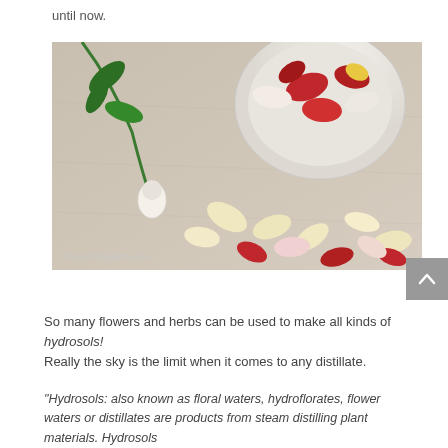until now.
[Figure (photo): Overhead photo of red, white and yellow rose petals scattered on a linen cloth, with a white bowl full of rose petals and a green rose stem with leaves in the upper left. Watermark reads GracedSimplicity.com]
So many flowers and herbs can be used to make all kinds of hydrosols! Really the sky is the limit when it comes to any distillate.
"Hydrosols: also known as floral waters, hydroflorates, flower waters or distillates are products from steam distilling plant materials. Hydrosols